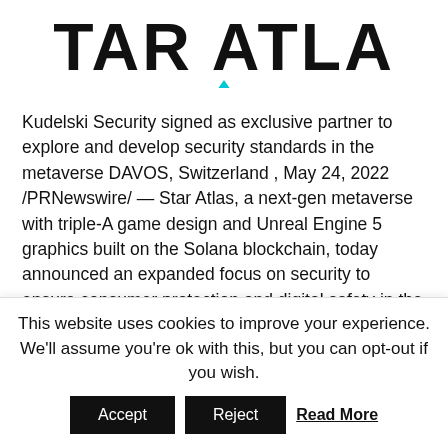[Figure (logo): Star Atlas logo with large bold uppercase text 'STAR ATLAS' and a small cyan/teal downward-pointing triangle beneath the A]
Kudelski Security signed as exclusive partner to explore and develop security standards in the metaverse DAVOS, Switzerland , May 24, 2022 /PRNewswire/ — Star Atlas, a next-gen metaverse with triple-A game design and Unreal Engine 5 graphics built on the Solana blockchain, today announced an expanded focus on security to ensure consumer protection and digital safety in the metaverse. This multi-pronged initiative includes signing Kudelski Security, the
This website uses cookies to improve your experience. We'll assume you're ok with this, but you can opt-out if you wish.
Accept  Reject  Read More